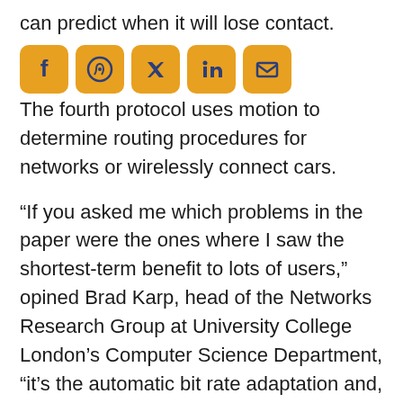can predict when it will lose contact.
[Figure (other): Social media sharing icons: Facebook, WhatsApp, Twitter, LinkedIn, Email — orange/yellow rounded square buttons with dark blue icons]
The fourth protocol uses motion to determine routing procedures for networks or wirelessly connect cars.
“If you asked me which problems in the paper were the ones where I saw the shortest-term benefit to lots of users,” opined Brad Karp, head of the Networks Research Group at University College London’s Computer Science Department, “it’s the automatic bit rate adaptation and, as a second choice, access point selection.”